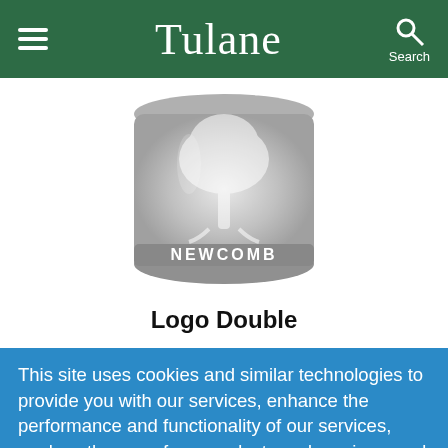Tulane
[Figure (photo): A glass tumbler engraved with a tree logo and the word NEWCOMB]
Logo Double
This site uses cookies and similar technologies to provide you with our services, enhance the performance and functionality of our services, analyze the use of our products and services, and assist with our advertising and marketing efforts.  Privacy Notice   GDPR Privacy Policy
ACCEPT   Decline